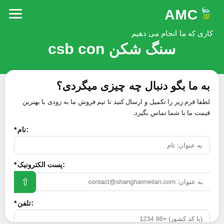AMC
کاری که ما انجام می دهیم
سنگ شکن csb con
به ما بگو دنبال چه چیزی میگردی؟
لطفا فرم زیر را تکمیل و ارسال کنید تا تیم فروش ما به زودی با بهترین قیمت ما با شما تماس بگیرد.
نام:*
به عنوان: تام
پست الکترونیک:*
به عنوان: contact@shanghaimeilan.com
تلفن:*
(با کد کشور) +86 1234